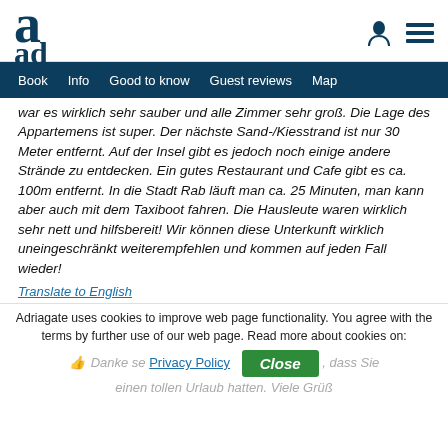a [logo] | [person icon] [menu icon]
Book | Info | Good to know | Guest reviews | Map
war es wirklich sehr sauber und alle Zimmer sehr groß. Die Lage des Appartemens ist super. Der nächste Sand-/Kiesstrand ist nur 30 Meter entfernt. Auf der Insel gibt es jedoch noch einige andere Strände zu entdecken. Ein gutes Restaurant und Cafe gibt es ca. 100m entfernt. In die Stadt Rab läuft man ca. 25 Minuten, man kann aber auch mit dem Taxiboot fahren. Die Hausleute waren wirklich sehr nett und hilfsbereit! Wir können diese Unterkunft wirklich uneingeschränkt weiterempfehlen und kommen auf jeden Fall wieder!
Translate to English
Adriagate uses cookies to improve web page functionality. You agree with the terms by further use of our web page. Read more about cookies on:
Privacy Policy | Close
Danke sehr... dass Sie einen tollen Urlaub hatten. Viele Grüße